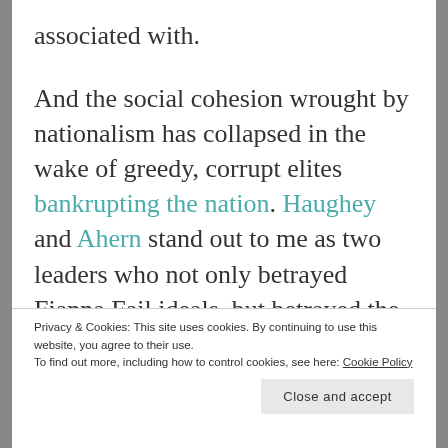associated with.
And the social cohesion wrought by nationalism has collapsed in the wake of greedy, corrupt elites bankrupting the nation. Haughey and Ahern stand out to me as two leaders who not only betrayed Fianna Fail ideals, but betrayed the Republic. Brian Cowen is
Privacy & Cookies: This site uses cookies. By continuing to use this website, you agree to their use.
To find out more, including how to control cookies, see here: Cookie Policy
Close and accept